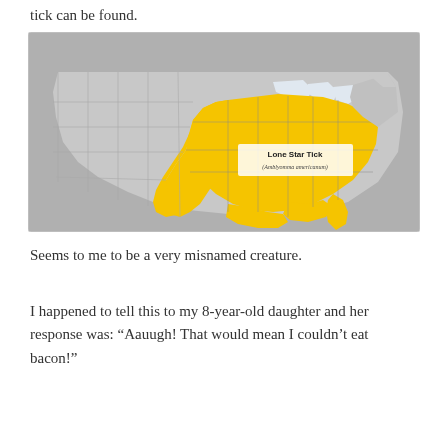tick can be found.
[Figure (map): Map of the United States showing the geographic range of the Lone Star Tick (Amblyomma americanum), highlighted in yellow across the eastern and south-central United States.]
Seems to me to be a very misnamed creature.
I happened to tell this to my 8-year-old daughter and her response was: “Aauugh! That would mean I couldn’t eat bacon!”